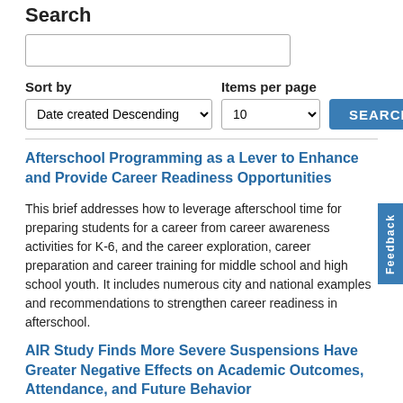Search
Sort by
Items per page
Afterschool Programming as a Lever to Enhance and Provide Career Readiness Opportunities
This brief addresses how to leverage afterschool time for preparing students for a career from career awareness activities for K-6, and the career exploration, career preparation and career training for middle school and high school youth. It includes numerous city and national examples and recommendations to strengthen career readiness in afterschool.
AIR Study Finds More Severe Suspensions Have Greater Negative Effects on Academic Outcomes, Attendance, and Future Behavior